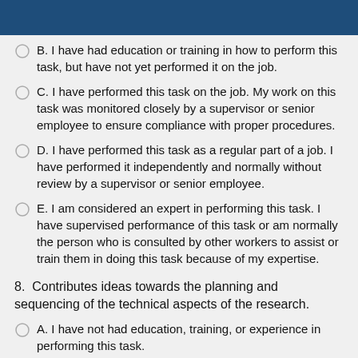B. I have had education or training in how to perform this task, but have not yet performed it on the job.
C. I have performed this task on the job. My work on this task was monitored closely by a supervisor or senior employee to ensure compliance with proper procedures.
D. I have performed this task as a regular part of a job. I have performed it independently and normally without review by a supervisor or senior employee.
E. I am considered an expert in performing this task. I have supervised performance of this task or am normally the person who is consulted by other workers to assist or train them in doing this task because of my expertise.
8.  Contributes ideas towards the planning and sequencing of the technical aspects of the research.
A. I have not had education, training, or experience in performing this task.
B. I have had education or training in how to perform this